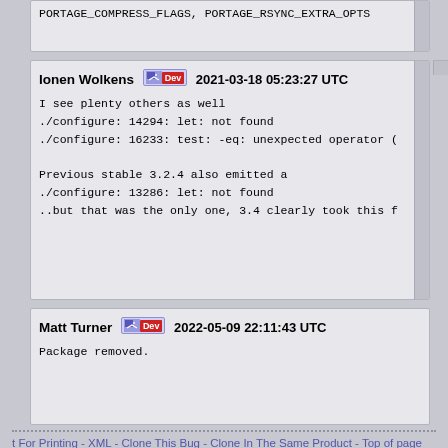PORTAGE_COMPRESS_FLAGS, PORTAGE_RSYNC_EXTRA_OPTS
Ionen Wolkens  Dev  2021-03-18 05:23:27 UTC

I see plenty others as well
./configure: 14294: let: not found
./configure: 16233: test: -eq: unexpected operator (

Previous stable 3.2.4 also emitted a
./configure: 13286: let: not found
..but that was the only one, 3.4 clearly took this f
Matt Turner  Dev  2022-05-09 22:11:43 UTC

Package removed.
t For Printing - XML - Clone This Bug - Clone In The Same Product - Top of page
Home | New–[Ex] | Browse | Search | Privacy Policy
| [Search box] [Search] [?] | Reports | Requests
| Help | New Account | Log In | Forgot Password